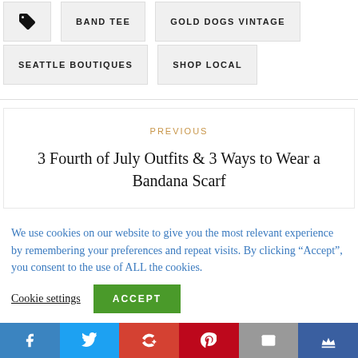BAND TEE
GOLD DOGS VINTAGE
SEATTLE BOUTIQUES
SHOP LOCAL
PREVIOUS
3 Fourth of July Outfits & 3 Ways to Wear a Bandana Scarf
We use cookies on our website to give you the most relevant experience by remembering your preferences and repeat visits. By clicking “Accept”, you consent to the use of ALL the cookies.
Cookie settings   ACCEPT
f  t  G+  P  mail  crown